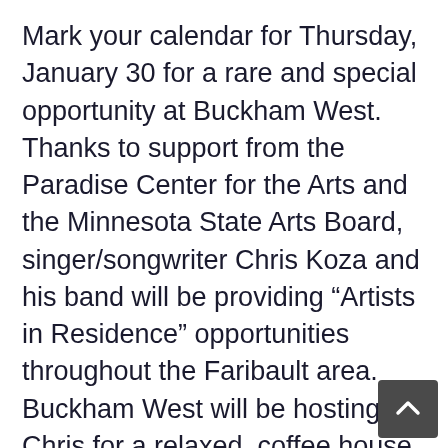Mark your calendar for Thursday, January 30 for a rare and special opportunity at Buckham West. Thanks to support from the Paradise Center for the Arts and the Minnesota State Arts Board, singer/songwriter Chris Koza and his band will be providing “Artists in Residence” opportunities throughout the Faribault area. Buckham West will be hosting Chris for a relaxed, coffee house style performance on Jan. 30 from 10-11:30am.
Chris Koza is internationally